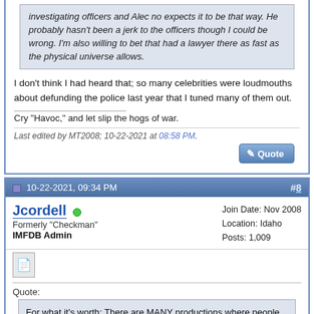that way. He probably hasn't been a jerk to the officers though I could be wrong. I'm also willing to bet that had a lawyer there as fast as the physical universe allows.
I don't think I had heard that; so many celebrities were loudmouths about defunding the police last year that I tuned many of them out.
Cry "Havoc," and let slip the hogs of war.
Last edited by MT2008; 10-22-2021 at 08:58 PM.
10-22-2021, 09:34 PM  #8
Jcordell  Formerly "Checkman"  IMFDB Admin  Join Date: Nov 2008  Location: Idaho  Posts: 1,009
Quote: For what it's worth: There are MANY productions where people who are not movie armorers are in charge of some or all of the firearms. In the U.S., a licensed handler is only required when there are NFA weapons being used on-set (this is different, of